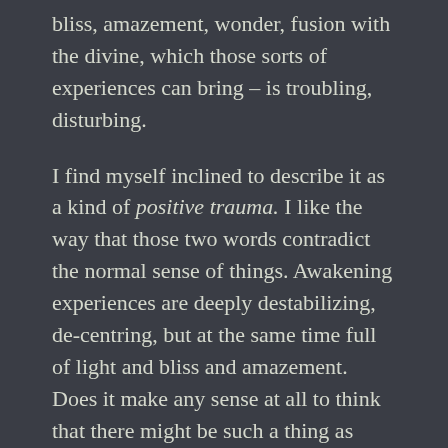bliss, amazement, wonder, fusion with the divine, which those sorts of experiences can bring – is troubling, disturbing.
I find myself inclined to describe it as a kind of positive trauma. I like the way that those two words contradict the normal sense of things. Awakening experiences are deeply destabilizing, de-centring, but at the same time full of light and bliss and amazement. Does it make any sense at all to think that there might be such a thing as positive trauma?
Normally we take the view that trauma is a negative experience. But if it's possible to frame trauma in a positive light, such as